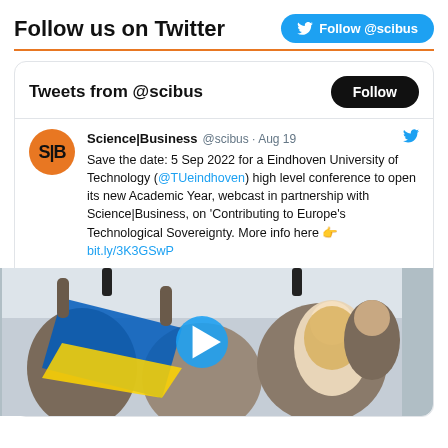Follow us on Twitter
Follow @scibus
Tweets from @scibus
Science|Business @scibus · Aug 19
Save the date: 5 Sep 2022 for a Eindhoven University of Technology (@TUeindhoven) high level conference to open its new Academic Year, webcast in partnership with Science|Business, on 'Contributing to Europe's Technological Sovereignty. More info here 👉 bit.ly/3K3GSwP
[Figure (photo): A crowd of people, some holding a blue and yellow flag (Ukrainian flag), with a video play button overlay indicating an embedded video.]